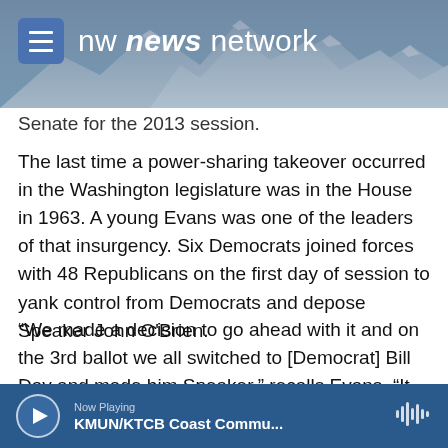nw news network
Senate for the 2013 session.
The last time a power-sharing takeover occurred in the Washington legislature was in the House in 1963. A young Evans was one of the leaders of that insurgency. Six Democrats joined forces with 48 Republicans on the first day of session to yank control from Democrats and depose Speaker John O'Brien.
“We made a decision to go ahead with it and on the 3rd ballot we all switched to [Democrat] Bill Day and made him Speaker,” recalls Evans. “It was a real shock to most of the Democrats.”
Now Playing KMUN/KTCB Coast Commu...